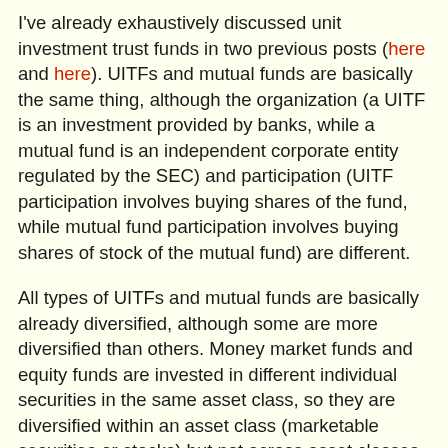I've already exhaustively discussed unit investment trust funds in two previous posts (here and here). UITFs and mutual funds are basically the same thing, although the organization (a UITF is an investment provided by banks, while a mutual fund is an independent corporate entity regulated by the SEC) and participation (UITF participation involves buying shares of the fund, while mutual fund participation involves buying shares of stock of the mutual fund) are different.
All types of UITFs and mutual funds are basically already diversified, although some are more diversified than others. Money market funds and equity funds are invested in different individual securities in the same asset class, so they are diversified within an asset class (marketable securities or stocks) but not across asset classes. "Balanced" UITFs or mutual funds typically consist of 50% bonds and 50% stocks, which means the funds cover a broader scope of assets and are therefore better diversified. But for these funds, even if diversification is able to reduce risk considerably, there's still a very real chance of principal loss because of the significant exposure to highly volatile